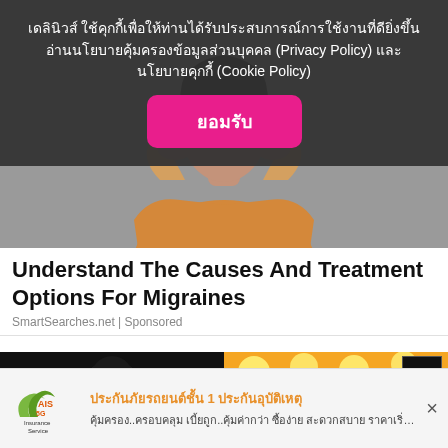[Figure (screenshot): Woman in yellow top holding head with both hands, shown from shoulders up against gray background]
เดลินิวส์ ใช้คุกกี้เพื่อให้ท่านได้รับประสบการณ์การใช้งานที่ดียิ่งขึ้น อ่านนโยบายคุ้มครองข้อมูลส่วนบุคคล (Privacy Policy) และ นโยบายคุกกี้ (Cookie Policy)
ยอมรับ
Understand The Causes And Treatment Options For Migraines
SmartSearches.net | Sponsored
[Figure (photo): Dark scene with a person, entertainment show stage with lights in background]
[Figure (logo): D logo on black background - Dailynews website logo]
ประกันภัยรถยนต์ชั้น 1 ประกันอุบัติเหตุ
คุ้มครอง..ครอบคลุม เบี้ยถูก..คุ้มค่ากว่า ซื้อง่าย สะดวกสบาย ราคาเริ่มต้น 3,299 บ